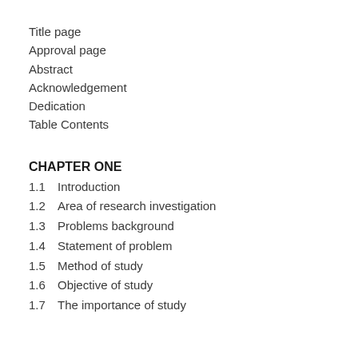Title page
Approval page
Abstract
Acknowledgement
Dedication
Table Contents
CHAPTER ONE
1.1  Introduction
1.2  Area of research investigation
1.3  Problems background
1.4  Statement of problem
1.5  Method of study
1.6  Objective of study
1.7  The importance of study